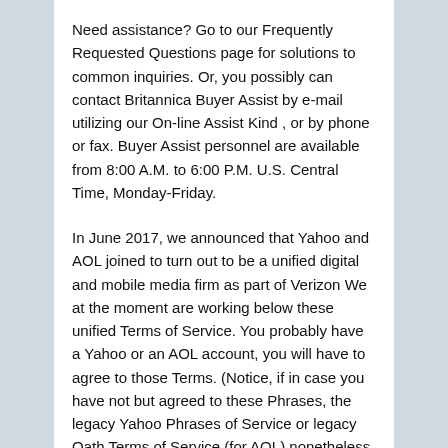Need assistance? Go to our Frequently Requested Questions page for solutions to common inquiries. Or, you possibly can contact Britannica Buyer Assist by e-mail utilizing our On-line Assist Kind , or by phone or fax. Buyer Assist personnel are available from 8:00 A.M. to 6:00 P.M. U.S. Central Time, Monday-Friday.
In June 2017, we announced that Yahoo and AOL joined to turn out to be a unified digital and mobile media firm as part of Verizon We at the moment are working below these unified Terms of Service. You probably have a Yahoo or an AOL account, you will have to agree to those Terms. (Notice, if in case you have not but agreed to these Phrases, the legacy Yahoo Phrases of Service or legacy Oath Terms of Service (for AOL) nonetheless apply to your account.) For all Verizon